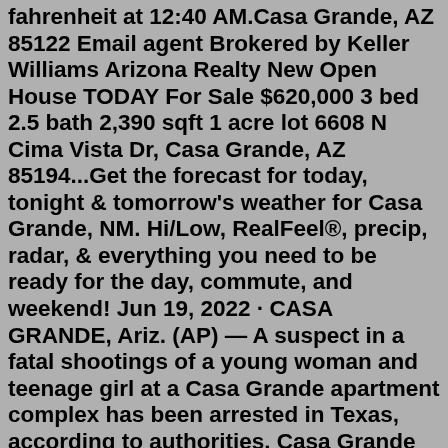fahrenheit at 12:40 AM.Casa Grande, AZ 85122 Email agent Brokered by Keller Williams Arizona Realty New Open House TODAY For Sale $620,000 3 bed 2.5 bath 2,390 sqft 1 acre lot 6608 N Cima Vista Dr, Casa Grande, AZ 85194...Get the forecast for today, tonight & tomorrow's weather for Casa Grande, NM. Hi/Low, RealFeel®, precip, radar, & everything you need to be ready for the day, commute, and weekend! Jun 19, 2022 · CASA GRANDE, Ariz. (AP) — A suspect in a fatal shootings of a young woman and teenage girl at a Casa Grande apartment complex has been arrested in Texas, according to authorities. Casa Grande police said 18-year-old Terrance Xavier Santistevan was taken into custody Saturday night in Pflugerville, which is 18 miles (29 kilometers) north of ... Be prepared with the most accurate 10-day forecast for Casa Grande, AZ with highs, lows, chance of precipitation from The Weather Channel and Weather.com CASA GRANDE, Ariz. (AP) — Two people are dead and several others injured after a fiery crash Wednesday on Interstate